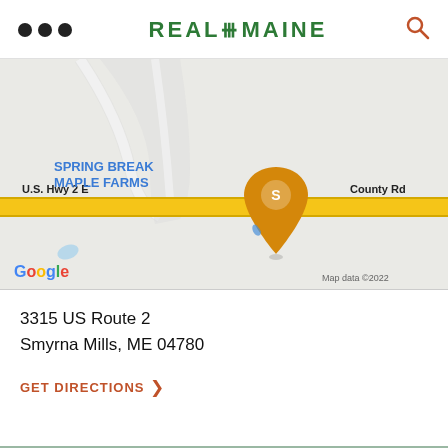REAL MAINE
[Figure (map): Google Maps screenshot showing Spring Break Maple Farms on U.S. Hwy 2 E / County Rd in Smyrna Mills, ME. An orange location pin labeled 'S' marks the business location. Map data ©2022.]
3315 US Route 2
Smyrna Mills, ME 04780
GET DIRECTIONS >